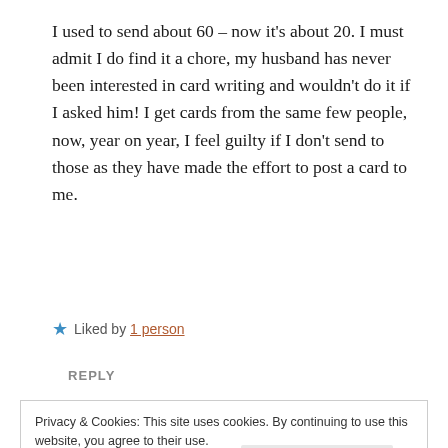I used to send about 60 – now it's about 20. I must admit I do find it a chore, my husband has never been interested in card writing and wouldn't do it if I asked him! I get cards from the same few people, now, year on year, I feel guilty if I don't send to those as they have made the effort to post a card to me.
★ Liked by 1 person
REPLY
Privacy & Cookies: This site uses cookies. By continuing to use this website, you agree to their use.
To find out more, including how to control cookies, see here: Cookie Policy
Close and accept